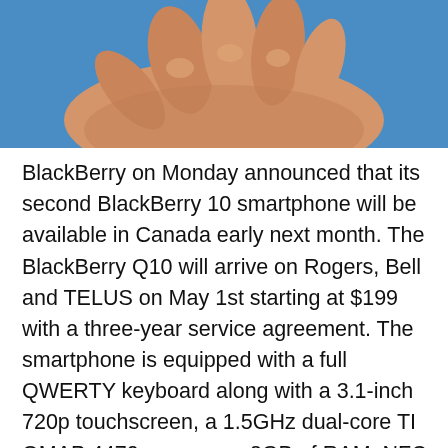[Figure (photo): A hand holding a BlackBerry smartphone against a blue background, showing the top portion of the device and hand.]
BlackBerry on Monday announced that its second BlackBerry 10 smartphone will be available in Canada early next month. The BlackBerry Q10 will arrive on Rogers, Bell and TELUS on May 1st starting at $199 with a three-year service agreement. The smartphone is equipped with a full QWERTY keyboard along with a 3.1-inch 720p touchscreen, a 1.5GHz dual-core TI OMAP 4470 processor, 2GB of RAM, NFC, a microSD slot and an 8-megapixel rear camera. BlackBerry also announced that the Q10 will be